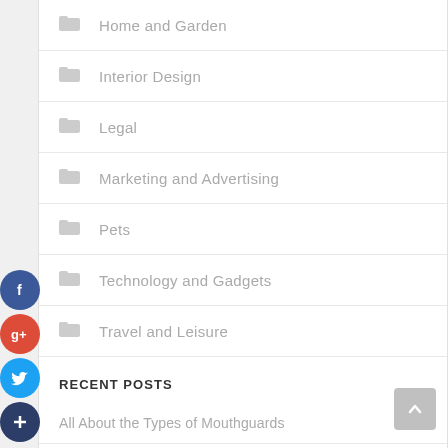Home and Garden
Interior Design
Legal
Marketing and Advertising
Pets
Technology and Gadgets
Travel and Leisure
RECENT POSTS
All About the Types of Mouthguards
Tips For A Safe Scrum Master